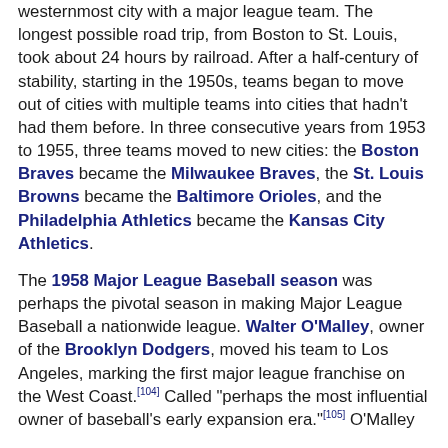westernmost city with a major league team. The longest possible road trip, from Boston to St. Louis, took about 24 hours by railroad. After a half-century of stability, starting in the 1950s, teams began to move out of cities with multiple teams into cities that hadn't had them before. In three consecutive years from 1953 to 1955, three teams moved to new cities: the Boston Braves became the Milwaukee Braves, the St. Louis Browns became the Baltimore Orioles, and the Philadelphia Athletics became the Kansas City Athletics.
The 1958 Major League Baseball season was perhaps the pivotal season in making Major League Baseball a nationwide league. Walter O'Malley, owner of the Brooklyn Dodgers, moved his team to Los Angeles, marking the first major league franchise on the West Coast.[104] Called "perhaps the most influential owner of baseball's early expansion era."[105] O'Malley